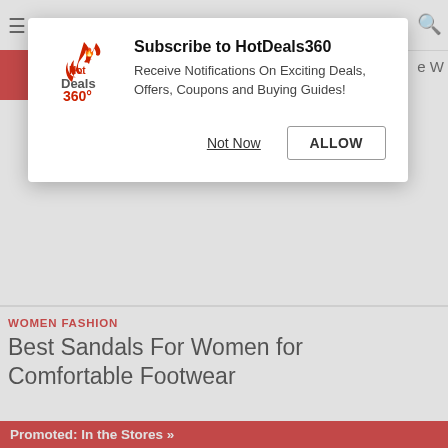[Figure (screenshot): HotDeals360 browser notification popup with logo, title 'Subscribe to HotDeals360', description text, and two buttons: 'Not Now' and 'ALLOW']
WOMEN FASHION
Best Sandals For Women for Comfortable Footwear
Promoted: In the Stores »